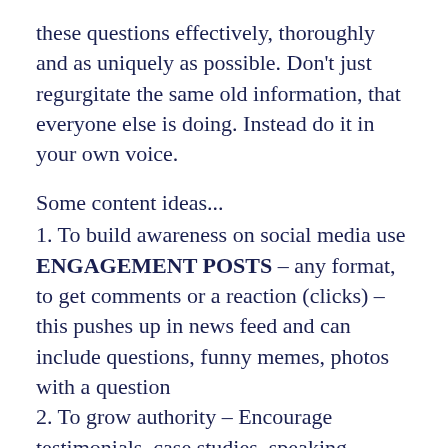these questions effectively, thoroughly and as uniquely as possible. Don't just regurgitate the same old information, that everyone else is doing. Instead do it in your own voice.
Some content ideas...
1. To build awareness on social media use ENGAGEMENT POSTS – any format, to get comments or a reaction (clicks) – this pushes up in news feed and can include questions, funny memes, photos with a question
2. To grow authority – Encourage testimonials, case studies, speaking engagements, you in action doing what you're trying to sell – honoured rather than boastful
3. To get clients – leads (email list sign up or